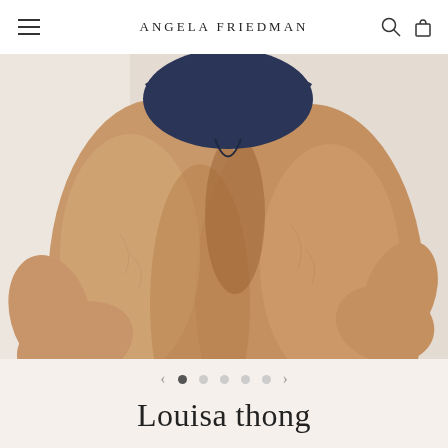Angela Friedman
[Figure (photo): Close-up product photo of a model wearing a navy blue thong/lingerie, showing the lower torso and upper thighs against a light beige background. Brand: Angela Friedman, product: Louisa thong.]
Louisa thong